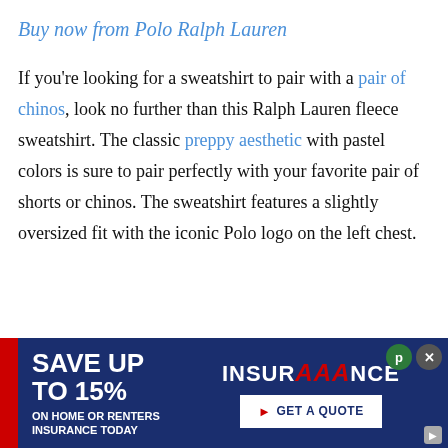Buy now from Polo Ralph Lauren
If you're looking for a sweatshirt to pair with a pair of chinos, look no further than this Ralph Lauren fleece sweatshirt. The classic preppy aesthetic with pastel colors is sure to pair perfectly with your favorite pair of shorts or chinos. The sweatshirt features a slightly oversized fit with the iconic Polo logo on the left chest.
[Figure (other): Advertisement banner: SAVE UP TO 15% ON HOME OR RENTERS INSURANCE TODAY | INSURANCE (AAA logo) | GET A QUOTE button]